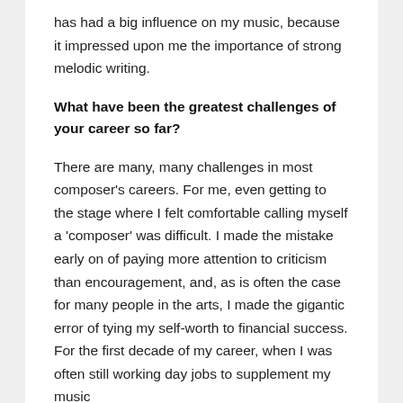has had a big influence on my music, because it impressed upon me the importance of strong melodic writing.
What have been the greatest challenges of your career so far?
There are many, many challenges in most composer's careers. For me, even getting to the stage where I felt comfortable calling myself a 'composer' was difficult. I made the mistake early on of paying more attention to criticism than encouragement, and, as is often the case for many people in the arts, I made the gigantic error of tying my self-worth to financial success. For the first decade of my career, when I was often still working day jobs to supplement my music